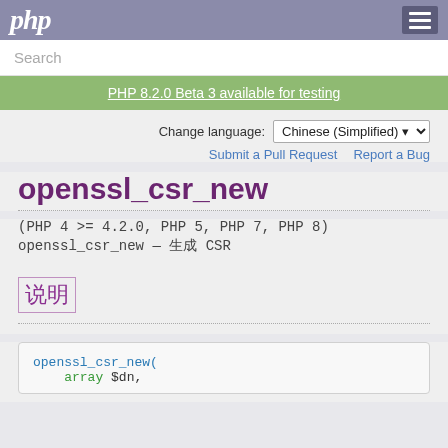php
Search
PHP 8.2.0 Beta 3 available for testing
Change language: Chinese (Simplified)
Submit a Pull Request   Report a Bug
openssl_csr_new
(PHP 4 >= 4.2.0, PHP 5, PHP 7, PHP 8)
openssl_csr_new — 生成 CSR
说明
openssl_csr_new(
    array $dn,